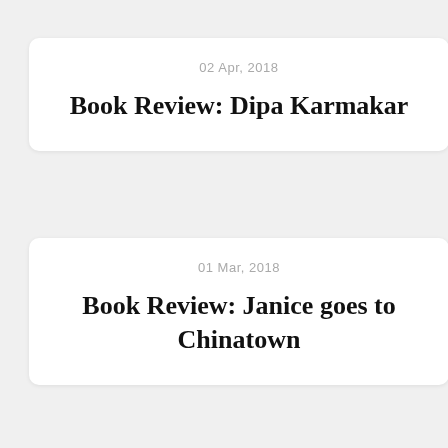02 Apr, 2018
Book Review: Dipa Karmakar
01 Mar, 2018
Book Review: Janice goes to Chinatown